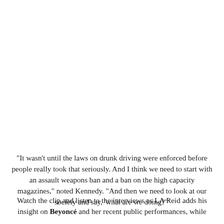"It wasn't until the laws on drunk driving were enforced before people really took that seriously. And I think we need to start with an assault weapons ban and a ban on the high capacity magazines," noted Kennedy. "And then we need to look at our society and say, 'what are we doing?'"
Watch the clip and listen to the interviews as LA Reid adds his insight on Beyoncé and her recent public performances, while